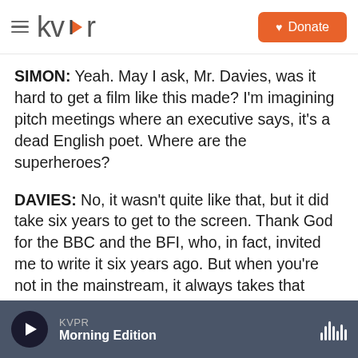kvpr | Donate
SIMON: Yeah. May I ask, Mr. Davies, was it hard to get a film like this made? I'm imagining pitch meetings where an executive says, it's a dead English poet. Where are the superheroes?
DAVIES: No, it wasn't quite like that, but it did take six years to get to the screen. Thank God for the BBC and the BFI, who, in fact, invited me to write it six years ago. But when you're not in the mainstream, it always takes that much longer to get money because the industry is geared to making money, and it's geared around stars. It's the nature of the beast.
KVPR Morning Edition